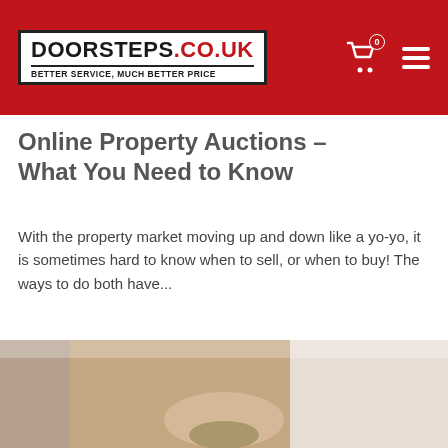DOORSTEPS.CO.UK — BETTER SERVICE, MUCH BETTER PRICE
Online Property Auctions – What You Need to Know
With the property market moving up and down like a yo-yo, it is sometimes hard to know when to sell, or when to buy! The ways to do both have...
28th March 2022
read more ›
[Figure (photo): A person holding a jar, photographed from the waist down, wearing a beige knit sweater.]